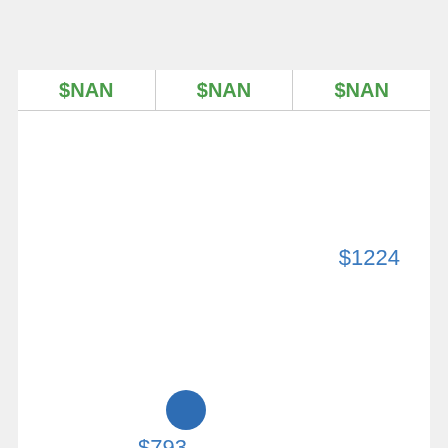| $NAN | $NAN | $NAN |
| --- | --- | --- |
$1224
[Figure (scatter-plot): A single blue dot marker positioned in the lower left area of a chart region]
$793
$719